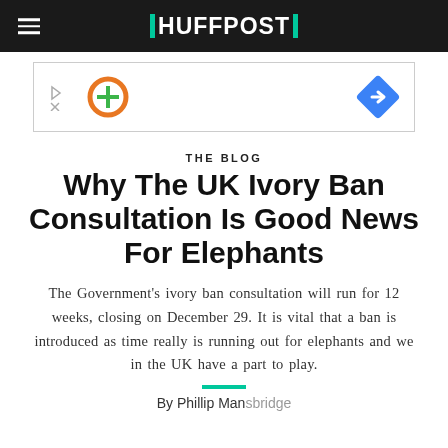HUFFPOST
[Figure (other): Advertisement banner with orange circle icon, play/close controls on left, and blue diamond direction icon on right]
THE BLOG
Why The UK Ivory Ban Consultation Is Good News For Elephants
The Government's ivory ban consultation will run for 12 weeks, closing on December 29. It is vital that a ban is introduced as time really is running out for elephants and we in the UK have a part to play.
By Phillip Mansbridge